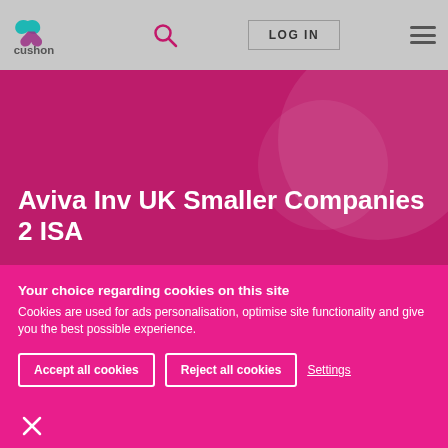[Figure (logo): Cushon logo with stylized butterfly/wing icon in teal and purple above text 'cushon']
LOG IN
Aviva Inv UK Smaller Companies 2 ISA
Your choice regarding cookies on this site
Cookies are used for ads personalisation, optimise site functionality and give you the best possible experience.
Accept all cookies
Reject all cookies
Settings